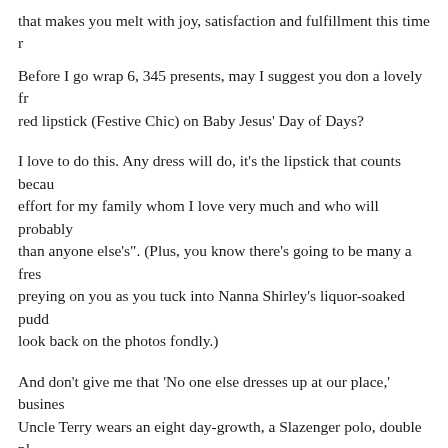that makes you melt with joy, satisfaction and fulfillment this time r
Before I go wrap 6, 345 presents, may I suggest you don a lovely fr red lipstick (Festive Chic) on Baby Jesus' Day of Days?
I love to do this. Any dress will do, it's the lipstick that counts becau effort for my family whom I love very much and who will probably than anyone else's". (Plus, you know there's going to be many a fres preying on you as you tuck into Nanna Shirley's liquor-soaked pudd look back on the photos fondly.)
And don't give me that 'No one else dresses up at our place,' busines Uncle Terry wears an eight day-growth, a Slazenger polo, double pl boardshorts he was given by his ex-wife Lynette - who ran off with owned the newsagency - in 1993, that doesn't mean you can't look u
All the very best, fruits.
Love,